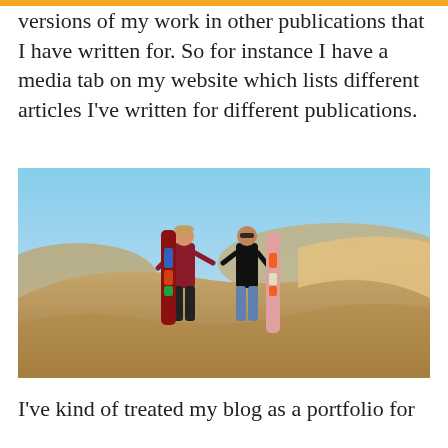versions of my work in other publications that I have written for. So for instance I have a media tab on my website which lists different articles I've written for different publications.
[Figure (photo): Two people standing on sand dunes holding sandboards, with a vast desert landscape in the background under a blue sky.]
I've kind of treated my blog as a portfolio for